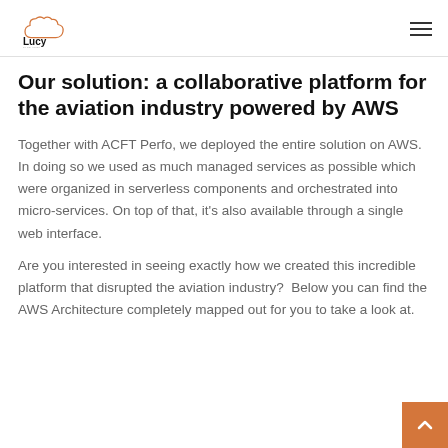Lucy by Phi-Vision [logo with hamburger menu]
Our solution: a collaborative platform for the aviation industry powered by AWS
Together with ACFT Perfo, we deployed the entire solution on AWS. In doing so we used as much managed services as possible which were organized in serverless components and orchestrated into micro-services. On top of that, it's also available through a single web interface.
Are you interested in seeing exactly how we created this incredible platform that disrupted the aviation industry?  Below you can find the AWS Architecture completely mapped out for you to take a look at.